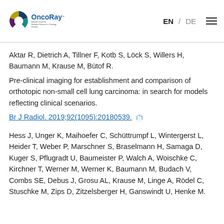OncoRay logo — National Center for Radiation Research in Oncology Dresden | EN / DE | menu
Aktar R, Dietrich A, Tillner F, Kotb S, Löck S, Willers H, Baumann M, Krause M, Bütof R.
Pre-clinical imaging for establishment and comparison of orthotopic non-small cell lung carcinoma: in search for models reflecting clinical scenarios.
Br J Radiol. 2019;92(1095):20180539.
Hess J, Unger K, Maihoefer C, Schüttrumpf L, Wintergerst L, Heider T, Weber P, Marschner S, Braselmann H, Samaga D, Kuger S, Pflugradt U, Baumeister P, Walch A, Woischke C, Kirchner T, Werner M, Werner K, Baumann M, Budach V, Combs SE, Debus J, Grosu AL, Krause M, Linge A, Rödel C, Stuschke M, Zips D, Zitzelsberger H, Ganswindt U, Henke M.